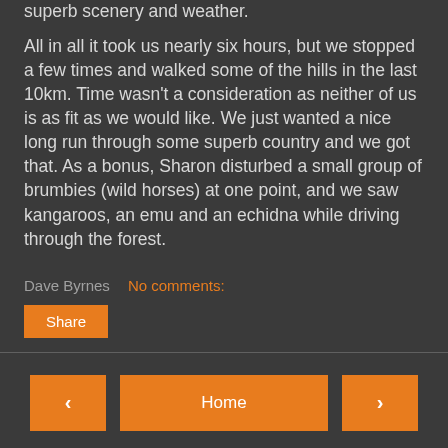superb scenery and weather.
All in all it took us nearly six hours, but we stopped a few times and walked some of the hills in the last 10km.  Time wasn't a consideration as neither of us is as fit as we would like.  We just wanted a nice long run through some superb country and we got that.  As a bonus, Sharon disturbed a small group of brumbies (wild horses) at one point, and we saw kangaroos, an emu and an echidna while driving through the forest.
Dave Byrnes
No comments:
Share
‹
Home
›
View web version
Powered by Blogger.